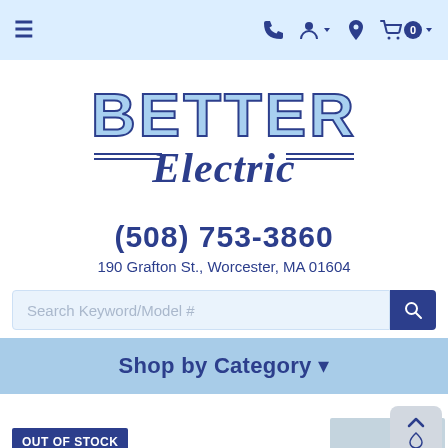Navigation bar with hamburger menu, phone icon, user icon, location icon, shopping cart (0)
[Figure (logo): Better Electric company logo with 'BETTER' in large light blue block letters and 'Electric' in dark blue cursive script below, with horizontal lines on either side]
(508) 753-3860
190 Grafton St., Worcester, MA 01604
Search Keyword/Model #
Shop by Category -
OUT OF STOCK